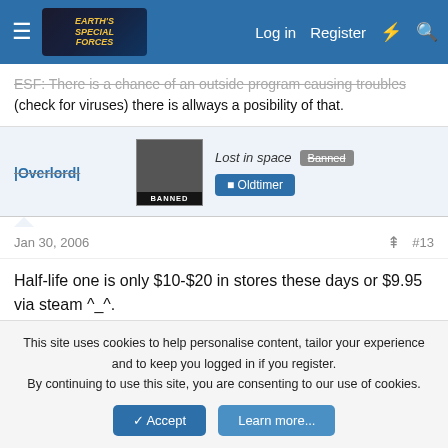Earth's Special Forces forum header with Log in, Register, and search icons
ESF: There is a chance of an outside program causing troubles (check for viruses) there is allways a posibility of that.
|Overlord| — Lost in space — Banned — Oldtimer
Jan 30, 2006  #13
Half-life one is only $10-$20 in stores these days or $9.95 via steam ^_^.
Me111 — New Member
This site uses cookies to help personalise content, tailor your experience and to keep you logged in if you register.
By continuing to use this site, you are consenting to our use of cookies.